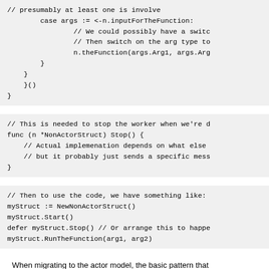// presumably at least one is involve
        case args := <-n.inputForTheFunction:
                // We could possibly have a switc
                // Then switch on the arg type to
                n.theFunction(args.Arg1, args.Arg
        }
    }
    }()
}
// This is needed to stop the worker when we're d
func (n *NonActorStruct) Stop() {
    // Actual implemenation depends on what else
    // but it probably just sends a specific mess
}
// Then to use the code, we have something like:
myStruct := NewNonActorStruct()
myStruct.Start()
defer myStruct.Stop() // Or arrange this to happe
myStruct.RunTheFunction(arg1, arg2)
When migrating to the actor model, the basic pattern that